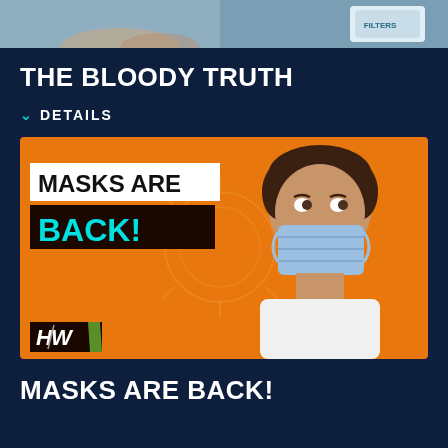[Figure (photo): Top partial image strip showing a person and product, cropped at top of page]
THE BLOODY TRUTH
DETAILS
[Figure (photo): Orange banner image with man wearing blue surgical mask, white text 'MASKS ARE BACK!', HW logo in bottom left]
MASKS ARE BACK!